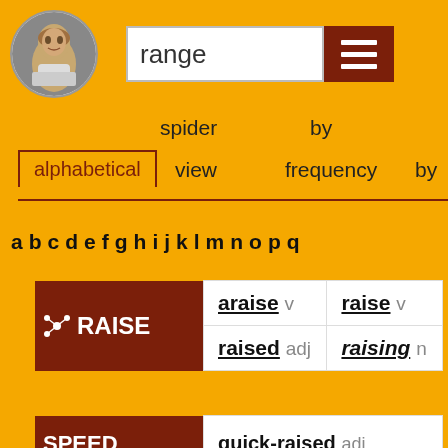[Figure (screenshot): Shakespeare portrait circular icon]
range
[Figure (other): hamburger menu icon]
alphabetical
spider view
by frequency by
a b c d e f g h i j k l m n o p q
| RAISE | araise v | raise v |
| --- | --- | --- |
|  | raised adj | raising n |
| SPEED | quick-raised adj |
| --- | --- |